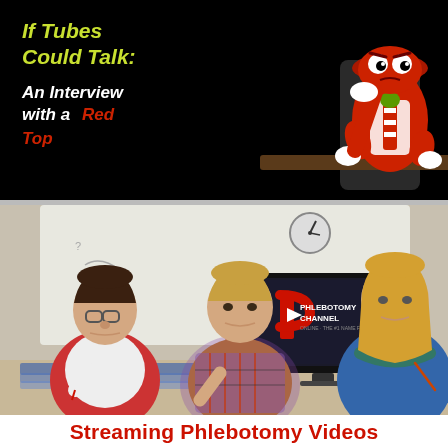[Figure (illustration): Black background promotional image with yellow-green italic bold text reading 'If Tubes Could Talk:' and white italic bold text reading 'An Interview with a' with 'Red Top' in red. A cartoon red blood tube character mascot sits at a desk, dressed in a tie, with googly eyes and white gloves.]
[Figure (photo): Photo of three people sitting at a table in an office/training setting. A TV monitor in the center displays the Phlebotomy Channel logo (a red P with the text PHLEBOTOMY CHANNEL). Two women and one man are shown, appearing to be in a training or meeting session.]
Streaming Phlebotomy Videos